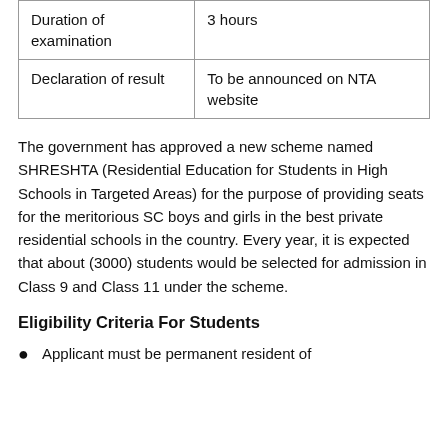| Duration of examination | 3 hours |
| Declaration of result | To be announced on NTA website |
The government has approved a new scheme named SHRESHTA (Residential Education for Students in High Schools in Targeted Areas) for the purpose of providing seats for the meritorious SC boys and girls in the best private residential schools in the country. Every year, it is expected that about (3000) students would be selected for admission in Class 9 and Class 11 under the scheme.
Eligibility Criteria For Students
Applicant must be permanent resident of